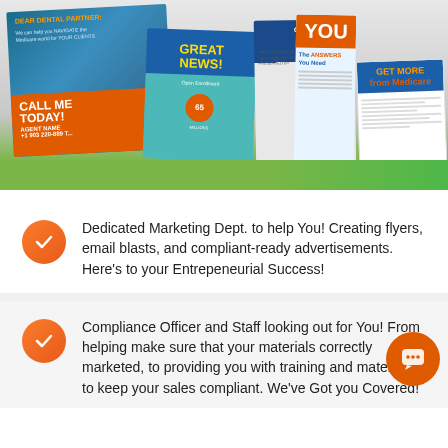[Figure (photo): Collage of insurance/Medicare marketing brochures and flyers spread across a surface with a green gradient background strip at the bottom]
Dedicated Marketing Dept. to help You! Creating flyers, email blasts, and compliant-ready advertisements. Here's to your Entrepeneurial Success!
Compliance Officer and Staff looking out for You! From helping make sure that your materials are correctly marketed, to providing you with training and materials to keep your sales compliant. We've Got you Covered!